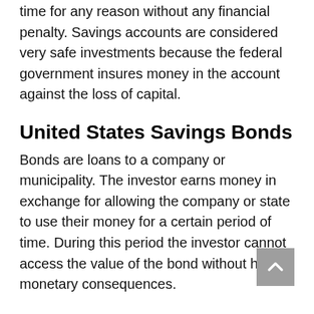time for any reason without any financial penalty. Savings accounts are considered very safe investments because the federal government insures money in the account against the loss of capital.
United States Savings Bonds
Bonds are loans to a company or municipality. The investor earns money in exchange for allowing the company or state to use their money for a certain period of time. During this period the investor cannot access the value of the bond without having monetary consequences.